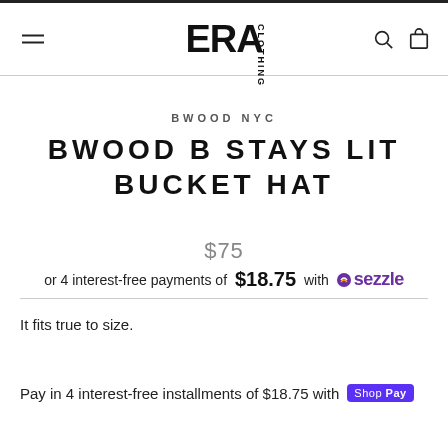ERA CLOTHING — navigation header with menu, logo, search, and bag icons
BWOOD NYC
BWOOD B STAYS LIT BUCKET HAT
$75
or 4 interest-free payments of $18.75 with Sezzle
It fits true to size.
Pay in 4 interest-free installments of $18.75 with Shop Pay